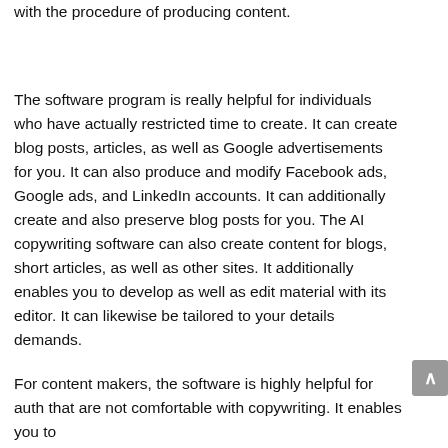with the procedure of producing content.
The software program is really helpful for individuals who have actually restricted time to create. It can create blog posts, articles, as well as Google advertisements for you. It can also produce and modify Facebook ads, Google ads, and LinkedIn accounts. It can additionally create and also preserve blog posts for you. The AI copywriting software can also create content for blogs, short articles, as well as other sites. It additionally enables you to develop as well as edit material with its editor. It can likewise be tailored to your details demands.
For content makers, the software is highly helpful for auth that are not comfortable with copywriting. It enables you to